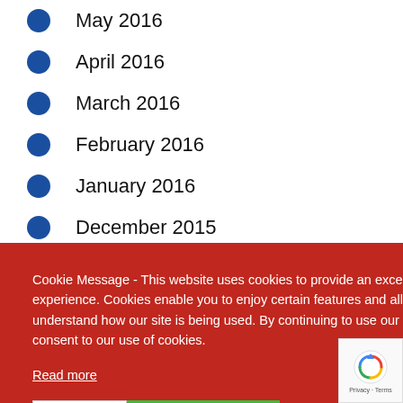May 2016
April 2016
March 2016
February 2016
January 2016
December 2015
Cookie Message - This website uses cookies to provide an exceptional user experience. Cookies enable you to enjoy certain features and allow us to understand how our site is being used. By continuing to use our site, you consent to our use of cookies.
Read more
Decline
Accept Cookies